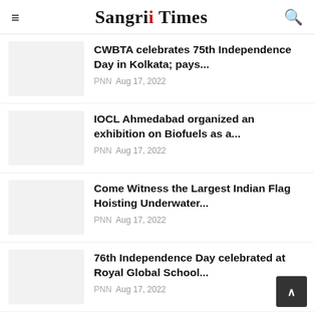Sangri Times
CWBTA celebrates 75th Independence Day in Kolkata; pays... PNN Aug 17, 2022
IOCL Ahmedabad organized an exhibition on Biofuels as a... PNN Aug 17, 2022
Come Witness the Largest Indian Flag Hoisting Underwater... PNN Aug 17, 2022
76th Independence Day celebrated at Royal Global School... PNN Aug 17, 2022